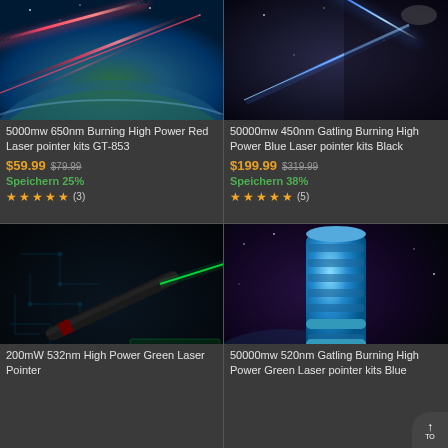[Figure (photo): Laser beam over Earth from space, red laser pointer promotional image]
5000mw 650nm Burning High Power Red Laser pointer kits GT-853
$59.99 $79.99
Speichern 25%
★★★★★ (3)
[Figure (photo): Blue laser pointer being held, bright blue beam visible, dark background]
50000mw 450nm Gatling Burning High Power Blue Laser pointer kits Black
$199.99 $319.99
Speichern 38%
★★★★★ (5)
[Figure (photo): Black laser pointer on circuit board background with green laser beam inset]
200mW 532nm High Power Green Laser Pointer
[Figure (photo): Blue metallic Gatling-style laser pointer in space scene with green beam]
50000mw 520nm Gatling Burning High Power Green Laser pointer kits Blue